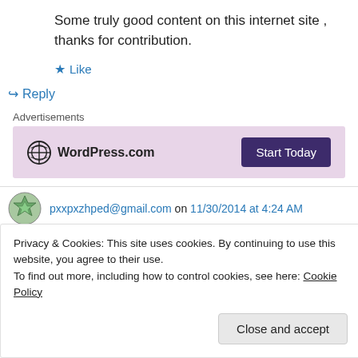Some truly good content on this internet site , thanks for contribution.
★ Like
↪ Reply
Advertisements
[Figure (logo): WordPress.com advertisement banner with Start Today button]
pxxpxzhped@gmail.com on 11/30/2014 at 4:24 AM
Privacy & Cookies: This site uses cookies. By continuing to use this website, you agree to their use.
To find out more, including how to control cookies, see here: Cookie Policy
Close and accept